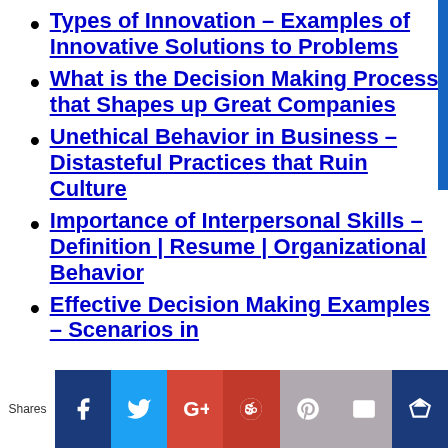Types of Innovation – Examples of Innovative Solutions to Problems
What is the Decision Making Process that Shapes up Great Companies
Unethical Behavior in Business – Distasteful Practices that Ruin Culture
Importance of Interpersonal Skills – Definition | Resume | Organizational Behavior
Effective Decision Making Examples – Scenarios in